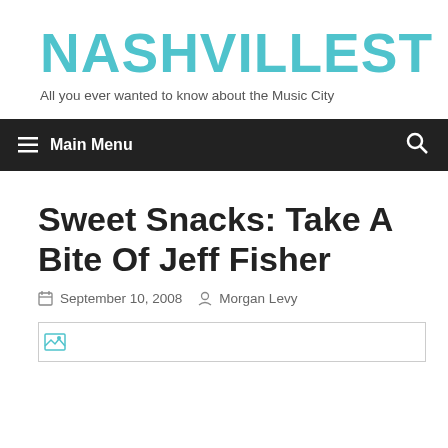NASHVILLEST
All you ever wanted to know about the Music City
≡ Main Menu
Sweet Snacks: Take A Bite Of Jeff Fisher
September 10, 2008  Morgan Levy
[Figure (photo): Broken image placeholder at top of article]